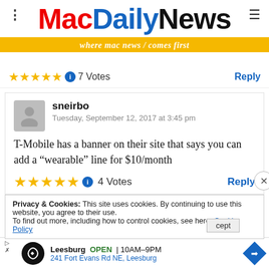MacDailyNews — where mac news comes first
7 Votes
Reply
sneirbo
Tuesday, September 12, 2017 at 3:45 pm
T-Mobile has a banner on their site that says you can add a “wearable” line for $10/month
4 Votes
Reply
Privacy & Cookies: This site uses cookies. By continuing to use this website, you agree to their use.
To find out more, including how to control cookies, see here: Cookie Policy
[Figure (infographic): Advertisement for a Leesburg store: open 10AM-9PM, 241 Fort Evans Rd NE, Leesburg]